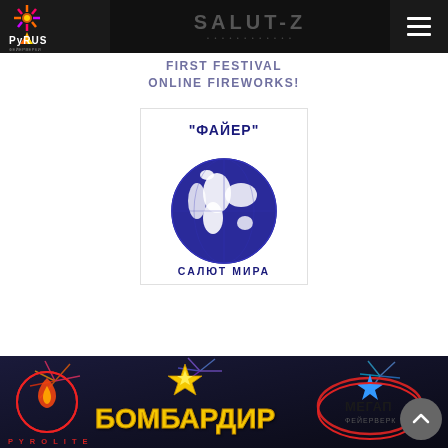PyRUS — website header with logo and navigation
[Figure (logo): PyRUS fireworks logo — colorful fireworks burst above stylized text 'PyRUS' on dark background, top-left corner of header]
[Figure (logo): SALUT-Z banner logo with dark background, large grey text 'SALUT-Z' and small URL text below, centered in header]
[Figure (logo): Hamburger menu icon (three horizontal white lines) in top-right corner on dark background]
FIRST FESTIVAL ONLINE FIREWORKS!
[Figure (logo): "ФАЙЕР" / "САЛЮТ МИРА" logo — dark blue globe illustration with Cyrillic text above ('"ФАЙЕР"') and below ('САЛЮТ МИРА') on white background with light grey border]
[Figure (logo): Bottom banner collage showing PYROLITE logo (flame with circular text), БОМБАРДИР text in gold/yellow with fireworks background, and МЕГАП ФЕЙЕРВЕРК logo (star with ellipse) — dark background]